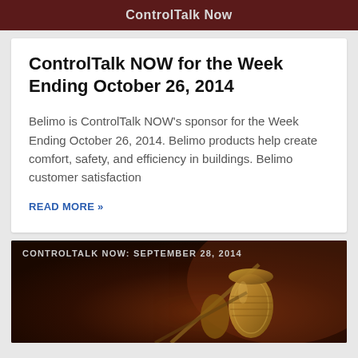ControlTalk Now
ControlTalk NOW for the Week Ending October 26, 2014
Belimo is ControlTalk NOW's sponsor for the Week Ending October 26, 2014. Belimo products help create comfort, safety, and efficiency in buildings. Belimo customer satisfaction
READ MORE »
[Figure (photo): Dark background image with microphone, labeled CONTROLTALK NOW: SEPTEMBER 28, 2014]